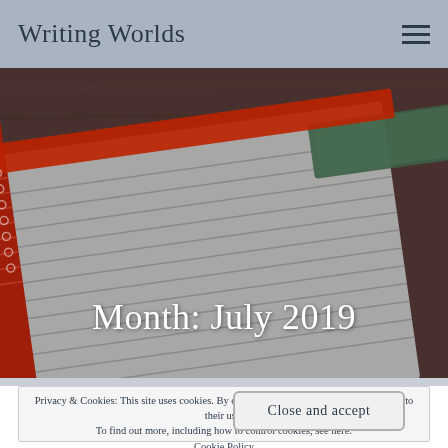Writing Worlds
[Figure (photo): Close-up photograph of a red spiral notebook on a wooden surface, showing lined pages and a green corner piece, used as a hero/banner image for a blog website.]
Month: July 2019
Privacy & Cookies: This site uses cookies. By continuing to use this website, you agree to their use.
To find out more, including how to control cookies, see here:
Cookie Policy
Close and accept